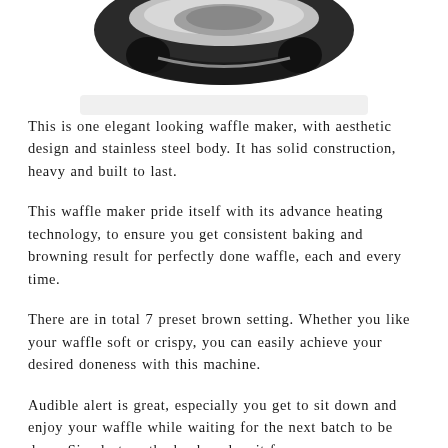[Figure (photo): Partial view of a waffle maker appliance, showing top portion with black and silver/chrome finish against a white background]
This is one elegant looking waffle maker, with aesthetic design and stainless steel body. It has solid construction, heavy and built to last.
This waffle maker pride itself with its advance heating technology, to ensure you get consistent baking and browning result for perfectly done waffle, each and every time.
There are in total 7 preset brown setting. Whether you like your waffle soft or crispy, you can easily achieve your desired doneness with this machine.
Audible alert is great, especially you get to sit down and enjoy your waffle while waiting for the next batch to be done. Simply turn the knob and wait for